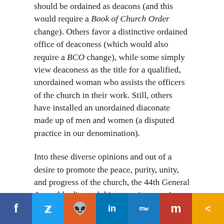should be ordained as deacons (and this would require a Book of Church Order change). Others favor a distinctive ordained office of deaconess (which would also require a BCO change), while some simply view deaconess as the title for a qualified, unordained woman who assists the officers of the church in their work. Still, others have installed an unordained diaconate made up of men and women (a disputed practice in our denomination).
Into these diverse opinions and out of a desire to promote the peace, purity, unity, and progress of the church, the 44th General Assembly directed this committee to give particular attention to the issues of:
[Figure (infographic): Social media sharing bar with buttons for Facebook (f), Twitter (bird icon), Reddit (alien icon), LinkedIn (in), MeWe (MW), Mix (m), and Share (<) on a colored bottom bar]